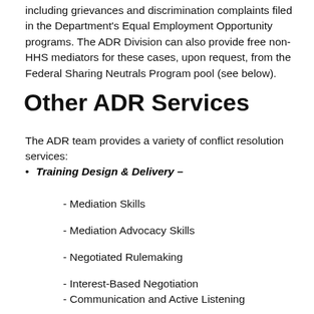including grievances and discrimination complaints filed in the Department's Equal Employment Opportunity programs. The ADR Division can also provide free non-HHS mediators for these cases, upon request, from the Federal Sharing Neutrals Program pool (see below).
Other ADR Services
The ADR team provides a variety of conflict resolution services:
Training Design & Delivery –
- Mediation Skills
- Mediation Advocacy Skills
- Negotiated Rulemaking
- Interest-Based Negotiation
- Communication and Active Listening